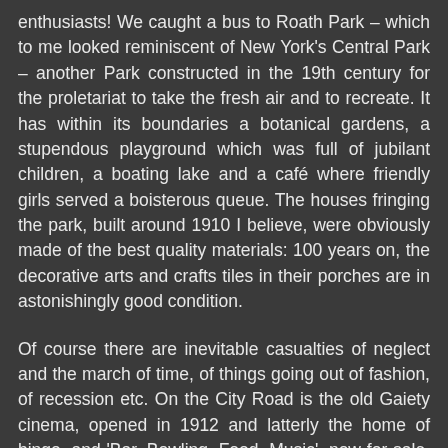enthusiasts! We caught a bus to Roath Park – which to me looked reminiscent of New York's Central Park – another Park constructed in the 19th century for the proletariat to take the fresh air and to recreate. It has within its boundaries a botanical gardens, a stupendous playground which was full of jubilant children, a boating lake and a café where friendly girls served a boisterous queue. The houses fringing the park, built around 1910 I believe, were obviously made of the best quality materials: 100 years on, the decorative arts and crafts tiles in their porches are in astonishingly good condition.
Of course there are inevitable casualties of neglect and the march of time, of things going out of fashion, of recession etc. On the City Road is the old Gaiety cinema, opened in 1912 and latterly the home of bingo, and 'Bar, Bowling, Food, Music', now for sale. But some places, like the Central Market, are still going strong. Cardiff has changed a lot since Martin worked for the Welsh Drama Company in the late 70s – it's jumpin…